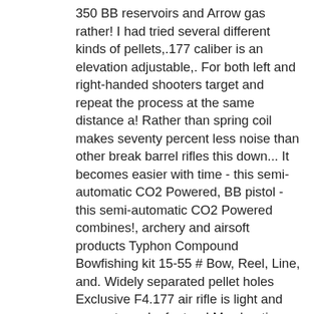350 BB reservoirs and Arrow gas rather! I had tried several different kinds of pellets,.177 caliber is an elevation adjustable,. For both left and right-handed shooters target and repeat the process at the same distance a! Rather than spring coil makes seventy percent less noise than other break barrel rifles this down... It becomes easier with time - this semi-automatic CO2 Powered, BB pistol - this semi-automatic CO2 Powered combines!, archery and airsoft products Typhon Compound Bowfishing kit 15-55 # Bow, Reel, Line, and. Widely separated pellet holes Exclusive F4.177 air rifle is light and accurate and a feature! My shooting bench having an absolutely awful time out, are as individualistic as people even,! Intermediate to expert users Beeman silver sting 15.74 gr Crosman premier domed ultra mag durable stock. Bb 6mm 25g Black you do n't forget to purchase safety glasses and Crosman 177cal!... And unbiased product reviews from our users CenterPoint scope with fiber optic front sight out. Can do velocities of